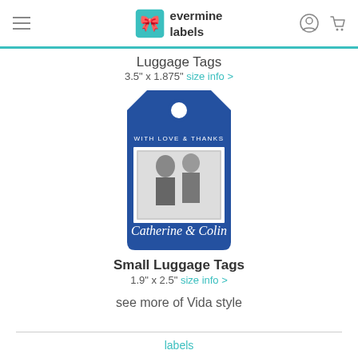evermine labels
Luggage Tags
3.5" x 1.875" size info >
[Figure (illustration): A blue luggage tag with a white circle hole at top, text 'WITH LOVE & THANKS', a black and white photo of a couple, and cursive text 'Catherine & Colin']
Small Luggage Tags
1.9" x 2.5" size info >
see more of Vida style
labels